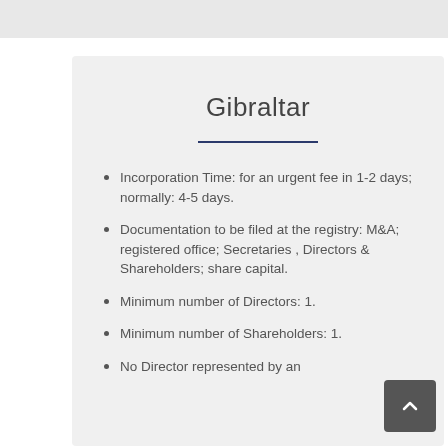Gibraltar
Incorporation Time: for an urgent fee in 1-2 days; normally: 4-5 days.
Documentation to be filed at the registry: M&A; registered office; Secretaries , Directors & Shareholders; share capital.
Minimum number of Directors: 1.
Minimum number of Shareholders: 1.
No Director represented by an